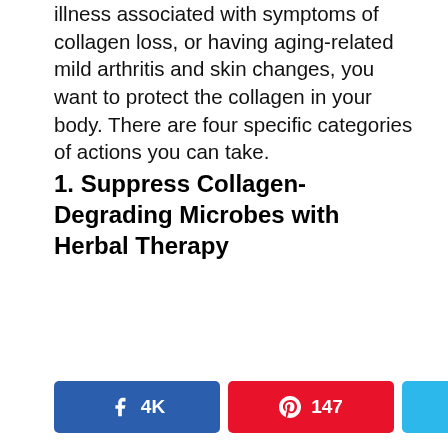illness associated with symptoms of collagen loss, or having aging-related mild arthritis and skin changes, you want to protect the collagen in your body. There are four specific categories of actions you can take.
1. Suppress Collagen-Degrading Microbes with Herbal Therapy
4K  147  (Twitter share)  4K SHARES